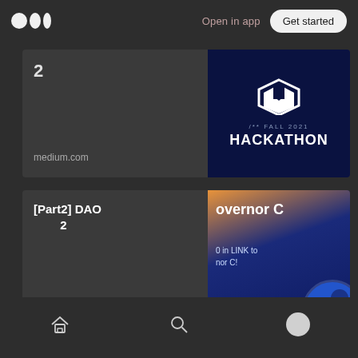Medium logo | Open in app | Get started
[Figure (screenshot): Partial card showing number '2' on dark background with medium.com label, and a HACKATHON Fall 2021 badge on dark blue background]
[Figure (screenshot): Card with title '[Part2] DAO 2' on dark background with medium.com label, and a 'Governor C' promotional image on dark blue background]
Home | Search | Profile navigation icons